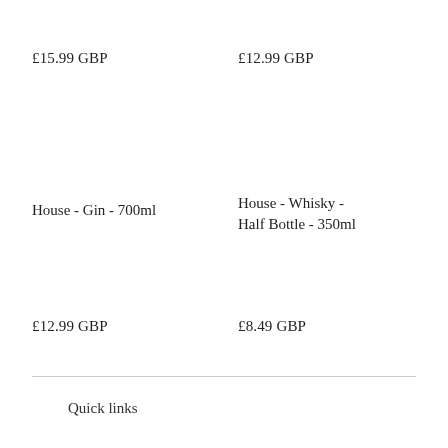£15.99 GBP
£12.99 GBP
House - Gin - 700ml
House - Whisky - Half Bottle - 350ml
£12.99 GBP
£8.49 GBP
Quick links